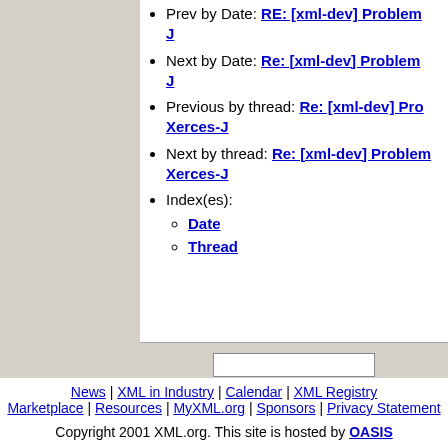Prev by Date: RE: [xml-dev] Problem ... J
Next by Date: Re: [xml-dev] Problem ... J
Previous by thread: Re: [xml-dev] Pro... Xerces-J
Next by thread: Re: [xml-dev] Problem... Xerces-J
Index(es): Date Thread
News | XML in Industry | Calendar | XML Registry Marketplace | Resources | MyXML.org | Sponsors | Privacy Statement Copyright 2001 XML.org. This site is hosted by OASIS